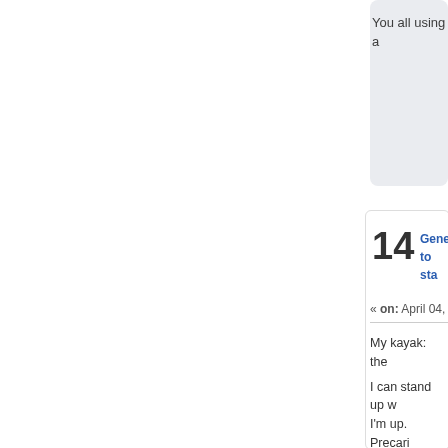You all using a
14
Gene... to sta...
« on: April 04, 202...
My kayak:  the
I can stand up w... I'm up.  Precari... getting my feet... thinking about i... easily. I just pu... was pretty easy... easier.  I was p... paddle board.
Amazing what y... the way. I could... hook. I sit dow...